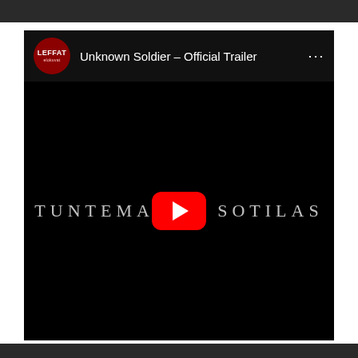[Figure (screenshot): A YouTube video player showing 'Unknown Soldier – Official Trailer' from the LEFFAT channel. The video thumbnail shows the film title 'TUNTEMATON SOTILAS' in spaced white/grey serif letters on a black background. A red YouTube play button is centered on the video. The channel icon is a red rounded square with 'LEFFAT' text. A three-dot menu icon appears in the top right of the video header. There are dark bars at the top and bottom of the page.]